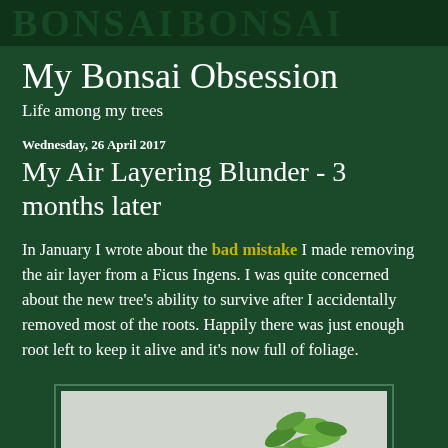BONSAI (decorative banner)
My Bonsai Obsession
Life among my trees
Wednesday, 26 April 2017
My Air Layering Blunder - 3 months later
In January I wrote about the bad mistake I made removing the air layer from a Ficus Ingens. I was quite concerned about the new tree's ability to survive after I accidentally removed most of the roots. Happily there was just enough root left to keep it alive and it's now full of foliage.
[Figure (photo): Photo of a small Ficus Ingens bonsai tree with green leaves against a light grey background, shown inside a dark green bordered frame]